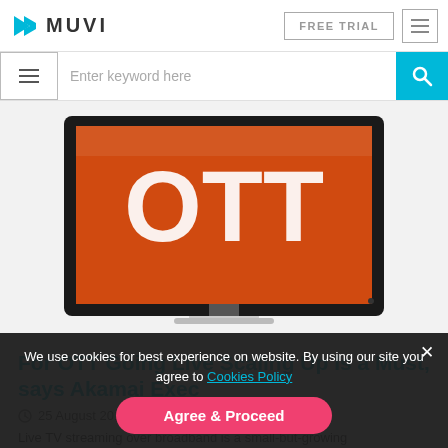MUVI — FREE TRIAL navigation bar with hamburger menu
[Figure (screenshot): Search bar row with hamburger menu icon on left, 'Enter keyword here' placeholder text, and cyan search button on right]
[Figure (photo): A TV monitor with an orange screen displaying the text 'OTT' in large white letters, on a white background]
For OTT Going Live Scaling Up Is a Must, says Akamai Exec
25 August 2015
Live TV streaming over broadband is a small-but-growing phenomenon, but the market is ill-prepared for the giant wave of data about to
We use cookies for best experience on website. By using our site you agree to Cookies Policy